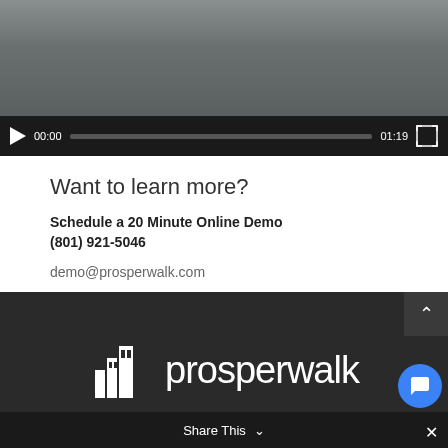[Figure (screenshot): Video player showing a paused video with controls bar showing 00:00 / 01:19 timestamp and progress bar]
Want to learn more?
Schedule a 20 Minute Online Demo
(801) 921-5046
demo@prosperwalk.com
[Figure (logo): Prosperwalk logo — white building/city icon and white text 'prosperwalk' on dark background]
Share This